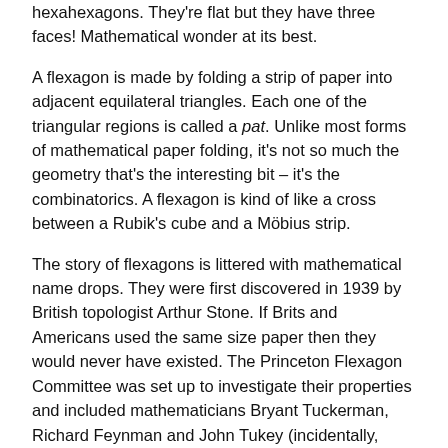hexahexagons. They're flat but they have three faces! Mathematical wonder at its best.
A flexagon is made by folding a strip of paper into adjacent equilateral triangles. Each one of the triangular regions is called a pat. Unlike most forms of mathematical paper folding, it's not so much the geometry that's the interesting bit – it's the combinatorics. A flexagon is kind of like a cross between a Rubik's cube and a Möbius strip.
The story of flexagons is littered with mathematical name drops. They were first discovered in 1939 by British topologist Arthur Stone. If Brits and Americans used the same size paper then they would never have existed. The Princeton Flexagon Committee was set up to investigate their properties and included mathematicians Bryant Tuckerman, Richard Feynman and John Tukey (incidentally, Tukey is famous amongst secondary school teachers for inventing the Stem and Leaf Plot – the Marmite of school level statistics). Flexagons were popularised by Martin Gardner in 1956 but are still relatively unknown. Why on earth do school children play with those dull fortune tellers in the playground when they could be